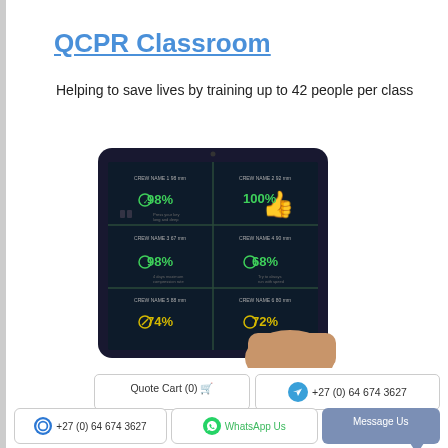QCPR Classroom
Helping to save lives by training up to 42 people per class
[Figure (screenshot): Tablet device showing QCPR app dashboard with 6 cells displaying percentages: 98%, 100% (thumbs up icon), 98%, 68%, 74%, 72%]
Quote Cart (0) 🛒
+27 (0) 64 674 3627
+27 (0) 64 674 3627
WhatsApp Us
Message Us
QCPR Training App